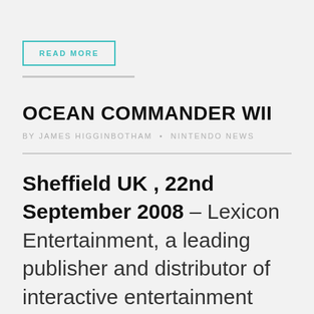READ MORE
OCEAN COMMANDER WII
BY JAMES HIGGINBOTHAM • NINTENDO NEWS
Sheffield UK , 22nd September 2008 – Lexicon Entertainment, a leading publisher and distributor of interactive entertainment and